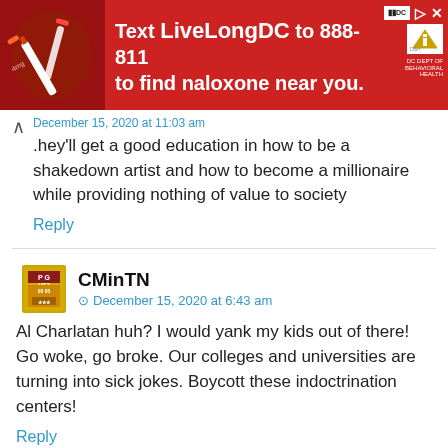[Figure (infographic): Red advertisement banner: 'Text LiveLongDC to 888-811 to find naloxone near you.' with DC and DBH logos and a close button, and an image of medicine/needles on the left.]
they'll get a good education in how to be a shakedown artist and how to become a millionaire while providing nothing of value to society
Reply
CMinTN
December 15, 2020 at 6:43 am
Al Charlatan huh? I would yank my kids out of there! Go woke, go broke. Our colleges and universities are turning into sick jokes. Boycott these indoctrination centers!
Reply
Rick